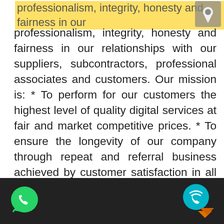professionalism, integrity, honesty and fairness in our relationships with our suppliers, subcontractors, professional associates and customers. Our mission is: * To perform for our customers the highest level of quality digital services at fair and market competitive prices. * To ensure the longevity of our company through repeat and referral business achieved by customer satisfaction in all areas including timeliness, attention to detail and service-minded attitudes. * To maintain the highest levels of professionalism, integrity, honesty and fairness in
[Figure (other): WhatsApp icon (green speech bubble with phone handset) in dark footer bar]
[Figure (other): Viber/call icon (teal circle with wifi signal and phone) with orange triangle/arrow, in dark footer bar]